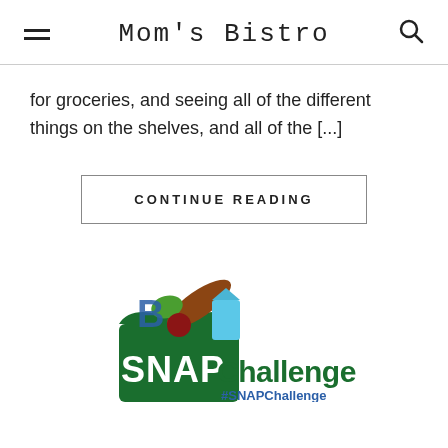Mom's Bistro
for groceries, and seeing all of the different things on the shelves, and all of the [...]
CONTINUE READING
[Figure (logo): SNAP Challenge logo with a green grocery bag containing items including bread, vegetables, and a milk carton, with text 'SNAP Challenge' and '#SNAPChallenge']